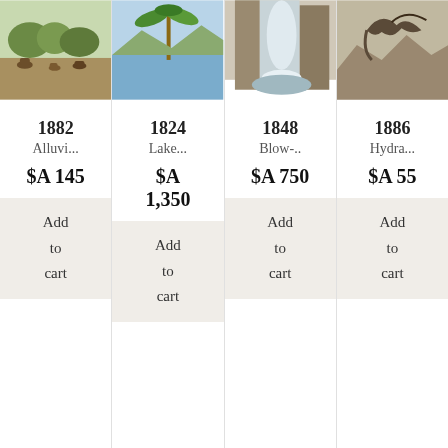[Figure (illustration): Vintage print circa 1882 showing alluvial landscape with animals]
1882
Alluvi...
$A 145
Add to cart
[Figure (illustration): Vintage print circa 1824 showing lake scene with palm tree]
1824
Lake...
$A 1,350
Add to cart
[Figure (illustration): Vintage print circa 1848 showing blow-hole or waterfall cliff scene]
1848
Blow-..
$A 750
Add to cart
[Figure (illustration): Vintage print circa 1886 showing hydra or bird/nature scene]
1886
Hydra...
$A 55
Add to cart